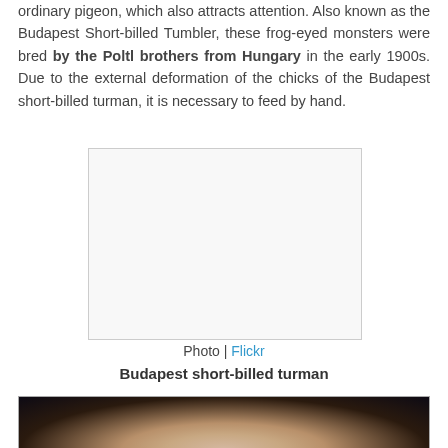ordinary pigeon, which also attracts attention. Also known as the Budapest Short-billed Tumbler, these frog-eyed monsters were bred by the Poltl brothers from Hungary in the early 1900s. Due to the external deformation of the chicks of the Budapest short-billed turman, it is necessary to feed by hand.
[Figure (photo): A white/light-colored photo placeholder box with light gray border against white background, representing a photograph of Budapest short-billed turman pigeon]
Photo | Flickr
Budapest short-billed turman
[Figure (photo): A dark background photo showing a white/light-colored bird (Budapest short-billed turman pigeon), cropped at bottom of page]